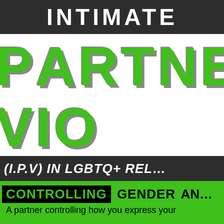INTIMATE
PARTNER
VIO
(I.P.V) IN LGBTQ+ REL
CONTROLLING GENDER AND
A partner controlling how you express your
A partner controlling how you express your